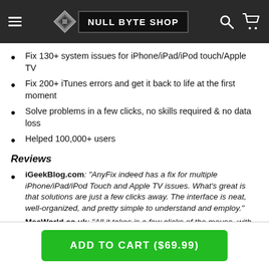NULL BYTE SHOP
Fix 130+ system issues for iPhone/iPad/iPod touch/Apple TV
Fix 200+ iTunes errors and get it back to life at the first moment
Solve problems in a few clicks, no skills required & no data loss
Helped 100,000+ users
Reviews
iGeekBlog.com: "AnyFix indeed has a fix for multiple iPhone/iPad/iPod Touch and Apple TV issues. What's great is that solutions are just a few clicks away. The interface is neat, well-organized, and pretty simple to understand and employ."
MacWorld.co.uk: "All it takes is a few clicks of the mouse, with no complicated manual operations."
ADD TO CART ($69.99)